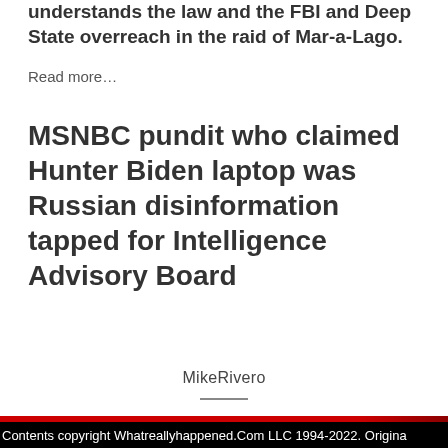understands the law and the FBI and Deep State overreach in the raid of Mar-a-Lago.
Read more...
MSNBC pundit who claimed Hunter Biden laptop was Russian disinformation tapped for Intelligence Advisory Board
MikeRivero
Contents copyright Whatreallyhappened.Com LLC 1994-2022. Origina